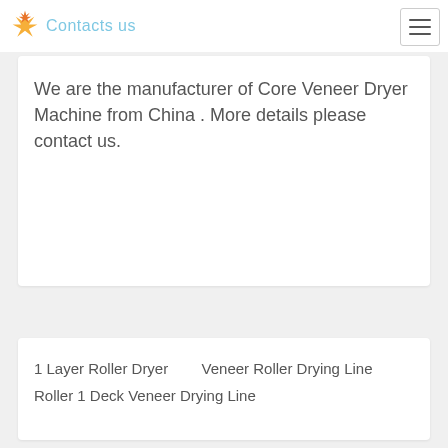Contacts us
We are the manufacturer of Core Veneer Dryer Machine from China . More details please contact us.
1 Layer Roller Dryer    Veneer Roller Drying Line
Roller 1 Deck Veneer Drying Line